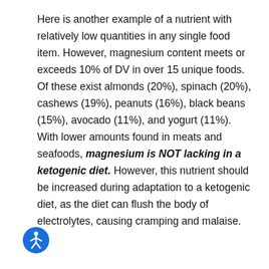Here is another example of a nutrient with relatively low quantities in any single food item. However, magnesium content meets or exceeds 10% of DV in over 15 unique foods. Of these exist almonds (20%), spinach (20%), cashews (19%), peanuts (16%), black beans (15%), avocado (11%), and yogurt (11%). With lower amounts found in meats and seafoods, magnesium is NOT lacking in a ketogenic diet. However, this nutrient should be increased during adaptation to a ketogenic diet, as the diet can flush the body of electrolytes, causing cramping and malaise.
[Figure (illustration): Blue circular accessibility icon with a white stick figure person]